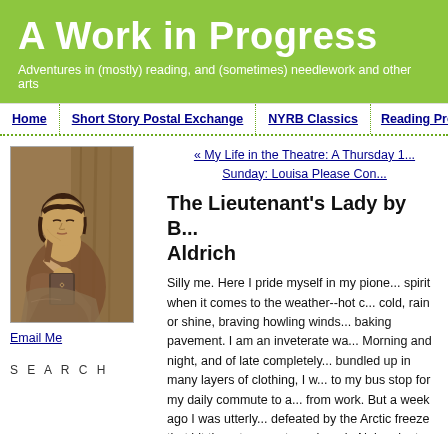A Work in Progress
Adventures in (mostly) reading, and (sometimes) needlework and other arts
Home | Short Story Postal Exchange | NYRB Classics | Reading Projects | A C
[Figure (photo): Sepia-toned vintage photograph of a young woman leaning her head on her hand, resting on a book, with a contemplative expression]
Email Me
S E A R C H
« My Life in the Theatre: A Thursday 1...
Sunday: Louisa Please Con...
The Lieutenant's Lady by B... Aldrich
Silly me.  Here I pride myself in my pione... spirit when it comes to the weather--hot c... cold, rain or shine, braving howling winds... baking pavement.  I am an inveterate wa... Morning and night, and of late completely... bundled up in many layers of clothing, I w... to my bus stop for my daily commute to a... from work.  But a week ago I was utterly... defeated by the Arctic freeze that hit the... temperatures here in Nebraska to as low... windchill.  I stayed home instead of ventu...